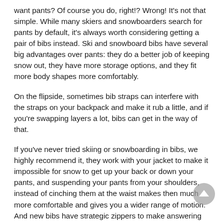want pants? Of course you do, right!? Wrong! It's not that simple. While many skiers and snowboarders search for pants by default, it's always worth considering getting a pair of bibs instead. Ski and snowboard bibs have several big advantages over pants: they do a better job of keeping snow out, they have more storage options, and they fit more body shapes more comfortably.
On the flipside, sometimes bib straps can interfere with the straps on your backpack and make it rub a little, and if you're swapping layers a lot, bibs can get in the way of that.
If you've never tried skiing or snowboarding in bibs, we highly recommend it, they work with your jacket to make it impossible for snow to get up your back or down your pants, and suspending your pants from your shoulders, instead of cinching them at the waist makes then much more comfortable and gives you a wider range of motion. And new bibs have strategic zippers to make answering nature's call easier without having to pull them down. But no matter whether you decide